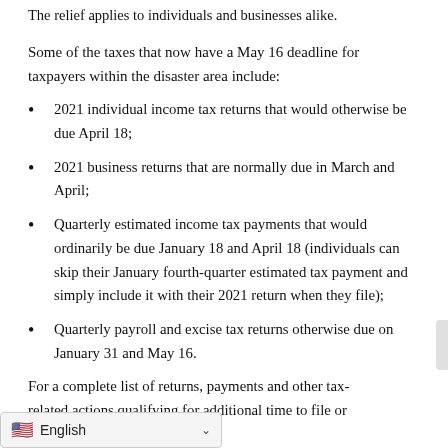The relief applies to individuals and businesses alike.
Some of the taxes that now have a May 16 deadline for taxpayers within the disaster area include:
2021 individual income tax returns that would otherwise be due April 18;
2021 business returns that are normally due in March and April;
Quarterly estimated income tax payments that would ordinarily be due January 18 and April 18 (individuals can skip their January fourth-quarter estimated tax payment and simply include it with their 2021 return when they file);
Quarterly payroll and excise tax returns otherwise due on January 31 and May 16.
For a complete list of returns, payments and other tax- related actions qualifying for additional time to file or